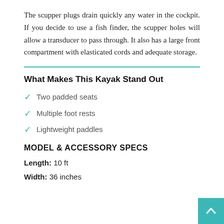The scupper plugs drain quickly any water in the cockpit. If you decide to use a fish finder, the scupper holes will allow a transducer to pass through. It also has a large front compartment with elasticated cords and adequate storage.
What Makes This Kayak Stand Out
Two padded seats
Multiple foot rests
Lightweight paddles
MODEL & ACCESSORY SPECS
Length: 10 ft
Width: 36 inches